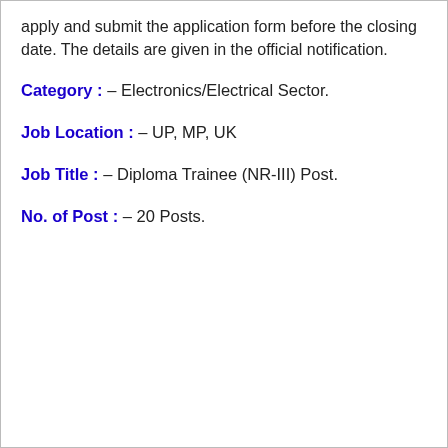apply and submit the application form before the closing date. The details are given in the official notification.
Category : – Electronics/Electrical Sector.
Job Location : – UP, MP, UK
Job Title : – Diploma Trainee (NR-III) Post.
No. of Post : – 20 Posts.